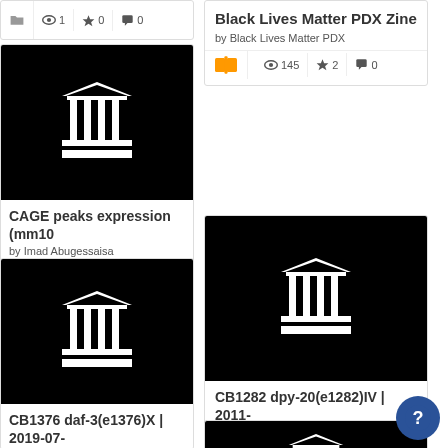[Figure (screenshot): Partial top-left card showing stats row: folder icon, 1 view, 0 favorites, 0 comments]
[Figure (screenshot): Card: Black Lives Matter PDX Zine by Black Lives Matter PDX. Open book icon (orange). Stats: 145 views, 2 favorites, 0 comments]
[Figure (screenshot): Card: CAGE peaks expression (mm10) by Imad Abugessaisa. Folder icon. Stats: 1 view, 0 favorites, 0 comments. Black thumbnail with classical building icon.]
[Figure (screenshot): Card: CB1282 dpy-20(e1282)IV | 2011- by Javer, Avelino; Currie, Michael; Hokanson, Jim; Lee,. Folder icon. Stats: 1 view, 0 favorites, 0 comments. Black thumbnail with classical building icon.]
[Figure (screenshot): Partial card: CB1376 daf-3(e1376)X | 2019-07-... Black thumbnail with classical building icon.]
[Figure (screenshot): Partial card (bottom right): Black thumbnail with classical building icon, partially visible.]
[Figure (screenshot): Dark blue circular help button with question mark icon, bottom right corner.]